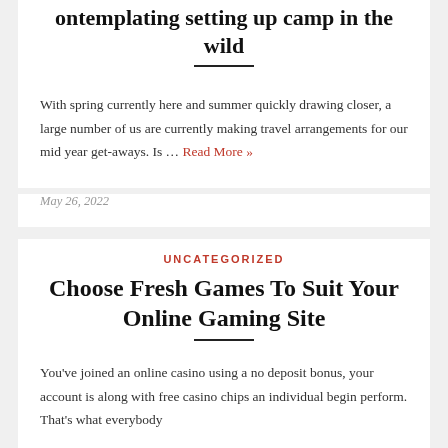ontemplating setting up camp in the wild
With spring currently here and summer quickly drawing closer, a large number of us are currently making travel arrangements for our mid year get-aways. Is … Read More »
May 26, 2022
UNCATEGORIZED
Choose Fresh Games To Suit Your Online Gaming Site
You've joined an online casino using a no deposit bonus, your account is along with free casino chips an individual begin perform. That's what everybody